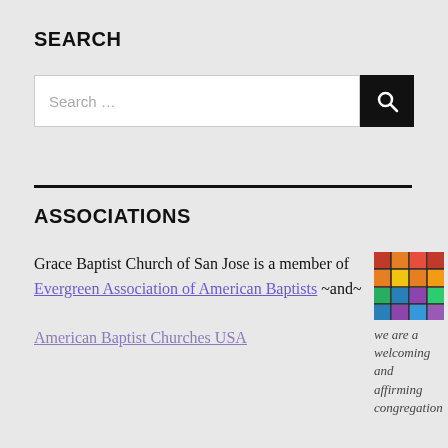SEARCH
[Figure (screenshot): Search bar with text 'Search ...' and a black button with a magnifying glass icon]
ASSOCIATIONS
Grace Baptist Church of San Jose is a member of Evergreen Association of American Baptists ~and~ American Baptist Churches USA
[Figure (illustration): Rainbow stained glass pattern image]
we are a welcoming and affirming congregation